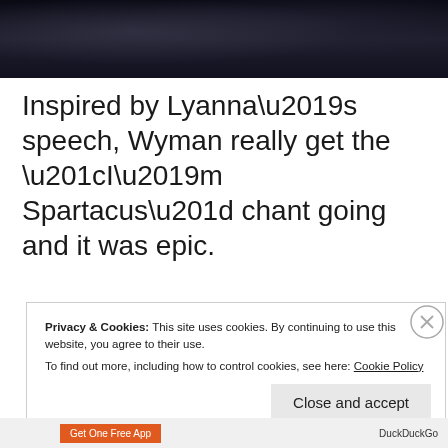[Figure (photo): Dark cinematic scene with figures in dim lighting, appears to be a TV show or movie still]
Inspired by Lyanna’s speech, Wyman really get the “I’m Spartacus” chant going and it was epic.
Privacy & Cookies: This site uses cookies. By continuing to use this website, you agree to their use.
To find out more, including how to control cookies, see here: Cookie Policy
Close and accept